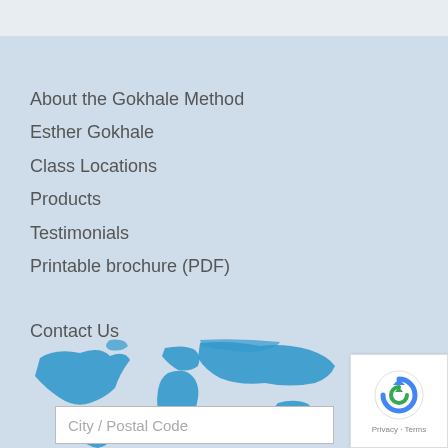About the Gokhale Method
Esther Gokhale
Class Locations
Products
Testimonials
Printable brochure (PDF)
Contact Us
FAQ's
Sales and Return policies
Privacy Policy
Terms of Service
[Figure (map): World map graphic shown partially at the bottom of the page]
City / Postal Code